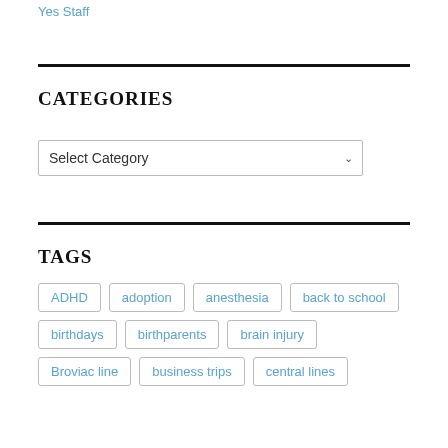Yes Staff
CATEGORIES
Select Category
TAGS
ADHD
adoption
anesthesia
back to school
birthdays
birthparents
brain injury
Broviac line
business trips
central lines